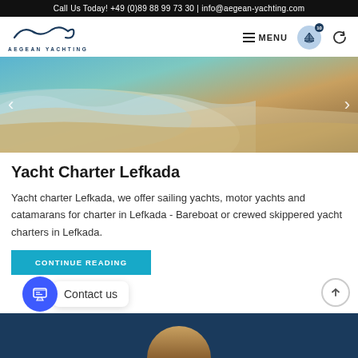Call Us Today! +49 (0)89 88 99 73 30 | info@aegean-yachting.com
[Figure (logo): Aegean Yachting logo with wave/curl graphic and text AEGEAN YACHTING]
[Figure (photo): Beach shoreline photo showing waves, wet sand and golden light from the side]
Yacht Charter Lefkada
Yacht charter Lefkada, we offer sailing yachts, motor yachts and catamarans for charter in Lefkada - Bareboat or crewed skippered yacht charters in Lefkada.
CONTINUE READING
Contact us